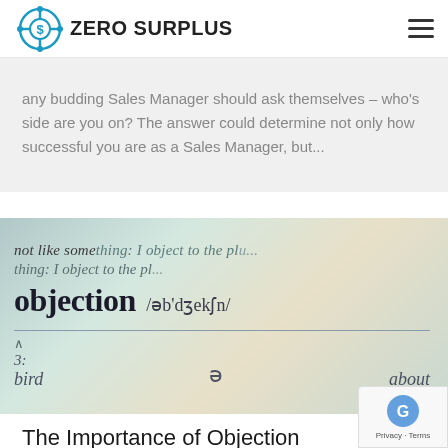ZERO SURPLUS
any budding Sales Manager should ask themselves – who's side are you on? The answer could determine not only how successful you are as a Sales Manager, but...
[Figure (photo): Close-up photograph of a dictionary page showing the word 'objection' with its phonetic transcription /əb'dʒekʃn/ and partial definitions. The word 'objection' appears in bold. Text visible includes 'not like something: I object to the pl...' and partial entries for bird, about, and number 3.]
The Importance of Objection